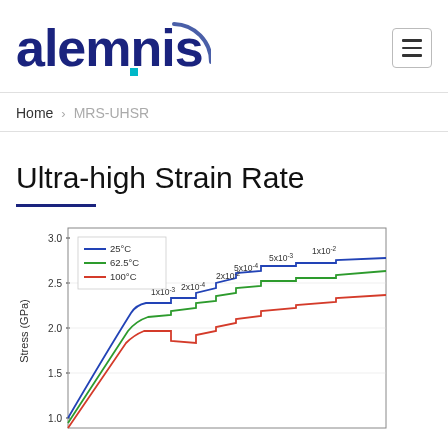alemnis
Home > MRS-UHSR
Ultra-high Strain Rate
[Figure (continuous-plot): Stress (GPa) vs strain curve showing three temperature series: 25°C (blue), 62.5°C (green), 100°C (red). Stress axis ranges from 1.0 to 3.0 GPa. Multiple strain rate steps labeled: 1x10⁻³, 2x10⁻⁴, 2x10⁻², 5x10⁻⁴, 5x10⁻³, 1x10⁻². Curves show increasing stress with strain with step-like increases at each strain rate change.]